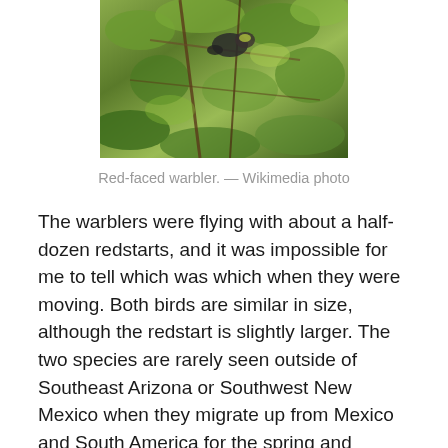[Figure (photo): A bird (red-faced warbler) perched among green foliage and branches]
Red-faced warbler. — Wikimedia photo
The warblers were flying with about a half-dozen redstarts, and it was impossible for me to tell which was which when they were moving. Both birds are similar in size, although the redstart is slightly larger. The two species are rarely seen outside of Southeast Arizona or Southwest New Mexico when they migrate up from Mexico and South America for the spring and summer.
I saw my first painted redstart, back in 2006, in Zion National Park, which is located in Southern Utah.
This day, in Arizona's Ramsey Canyon, these beautiful